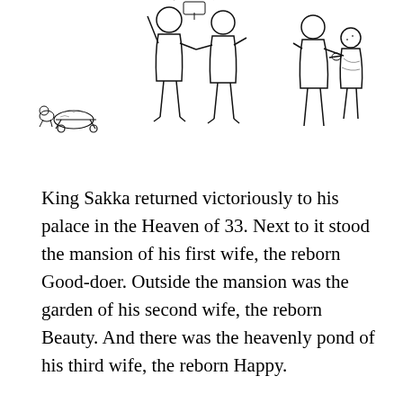[Figure (illustration): Line drawings of figures: left side shows a small animal or cart-like figure; center shows two human figures, one appearing to hold something above; right side shows two figures interacting, appearing to exchange something.]
King Sakka returned victoriously to his palace in the Heaven of 33. Next to it stood the mansion of his first wife, the reborn Good-doer. Outside the mansion was the garden of his second wife, the reborn Beauty. And there was the heavenly pond of his third wife, the reborn Happy.
However, Well-born had died and been reborn as a slender crane in the forest. Since he missed her, Sakka found her and brought her up to the